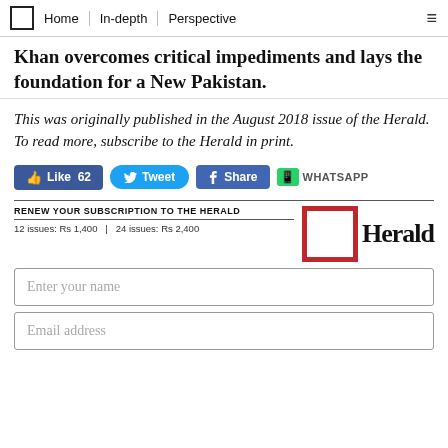Home | In-depth | Perspective
Khan overcomes critical impediments and lays the foundation for a New Pakistan.
This was originally published in the August 2018 issue of the Herald. To read more, subscribe to the Herald in print.
[Figure (infographic): Social share buttons: Like 62, Tweet, Share, WHATSAPP]
[Figure (infographic): Herald subscription box: RENEW YOUR SUBSCRIPTION TO THE HERALD, 12 issues: Rs 1,400 | 24 issues: Rs 2,400, with Herald logo]
Enter your name
Email address